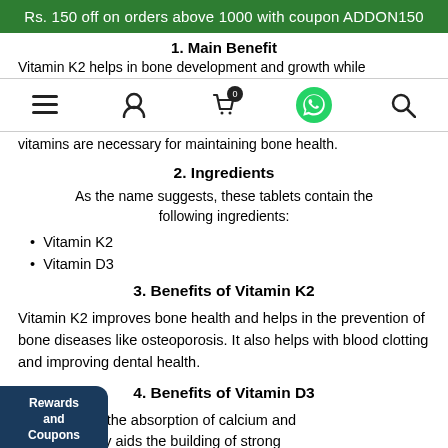Rs. 150 off on orders above 1000 with coupon ADDON150
1. Main Benefit
Vitamin K2 helps in bone development and growth while
[Figure (screenshot): Mobile navigation bar with hamburger menu, user icon, shopping cart with badge 0, WhatsApp icon, and search icon]
vitamins are necessary for maintaining bone health.
2. Ingredients
As the name suggests, these tablets contain the following ingredients:
Vitamin K2
Vitamin D3
3. Benefits of Vitamin K2
Vitamin K2 improves bone health and helps in the prevention of bone diseases like osteoporosis. It also helps with blood clotting and improving dental health.
4. Benefits of Vitamin D3
n D3 helps in the absorption of calcium and
and eventually aids the building of strong